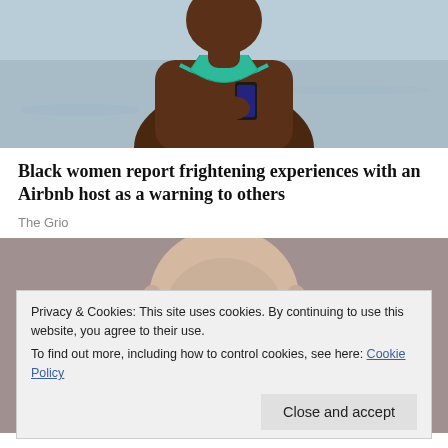[Figure (photo): Black woman in teal/green bikini top holding a smartphone at a beach, viewed from mid-body up, overcast sky in background]
Black women report frightening experiences with an Airbnb host as a warning to others
The Grio
[Figure (photo): Partial view of an older bald man, partially obscured by cookie consent banner]
Privacy & Cookies: This site uses cookies. By continuing to use this website, you agree to their use.
To find out more, including how to control cookies, see here: Cookie Policy
Close and accept